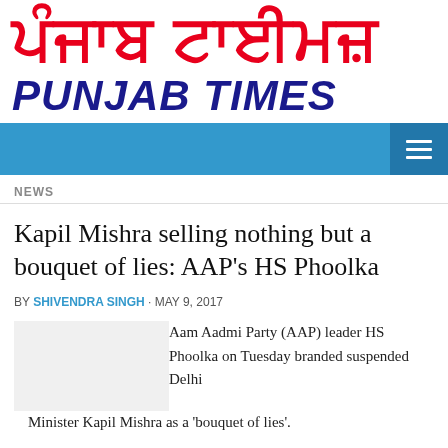[Figure (logo): Punjab Times newspaper logo with Gurmukhi script in red and 'PUNJAB TIMES' in dark blue italic bold text]
NEWS
Kapil Mishra selling nothing but a bouquet of lies: AAP's HS Phoolka
BY SHIVENDRA SINGH · MAY 9, 2017
Aam Aadmi Party (AAP) leader HS Phoolka on Tuesday branded suspended Delhi Minister Kapil Mishra as a 'bouquet of lies'.
Accusing former Delhi Minister Mishra of making a...